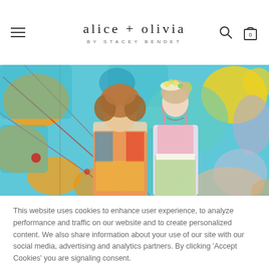alice + olivia BY STACEY BENDET
[Figure (photo): Two people (a man with curly hair wearing a colorful floral shirt and a woman with a floral headpiece wearing a pink and green dress) standing in front of a colorful abstract painted background with blue, yellow, orange and red colors.]
This website uses cookies to enhance user experience, to analyze performance and traffic on our website and to create personalized content. We also share information about your use of our site with our social media, advertising and analytics partners. By clicking 'Accept Cookies' you are signaling consent.
Do Not Sell My Personal Information
Accept Cookies